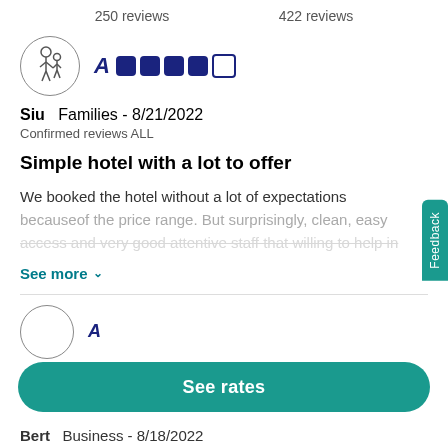250 reviews    422 reviews
[Figure (illustration): Family icon in circle (adult and child), and Marriott Bonvoy logo with 4 filled squares and 1 outlined square]
Siu    Families - 8/21/2022
Confirmed reviews ALL
Simple hotel with a lot to offer
We booked the hotel without a lot of expectations becauseof the price range. But surprisingly, clean, easy access and very good attentive staff that willing to help in...
See more ∨
[Figure (illustration): Second reviewer avatar circle (partial) and Marriott logo (partial)]
Bert    Business - 8/18/2022